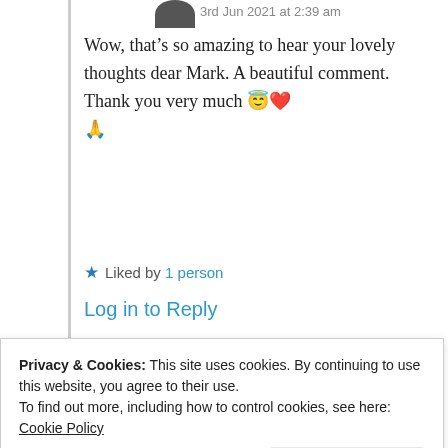3rd Jun 2021 at 2:39 am
Wow, that’s so amazing to hear your lovely thoughts dear Mark. A beautiful comment. Thank you very much 😇❤️ 🙏
★ Liked by 1 person
Log in to Reply
Advertisements
[Figure (logo): Jetpack advertisement banner with green background showing Jetpack logo and 'Secure Your Site' button]
Privacy & Cookies: This site uses cookies. By continuing to use this website, you agree to their use.
To find out more, including how to control cookies, see here: Cookie Policy
Close and accept
3rd Jun 2021 at 1:58 am